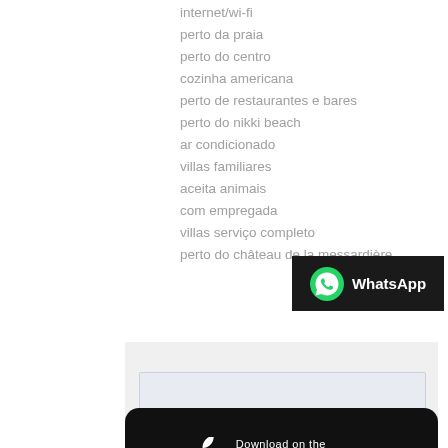internet/wi-fi
perto da praia
perto do centro
cozinha americana
perto de restaurantes e bares
perto do nikki beach
ar condicionado
villas familiares
aceita animais
com empregada
villas serviço completo
perto do château de la messardière
[Figure (logo): WhatsApp logo badge on dark background with white WhatsApp text]
Your name:
Your Email:*
[Figure (logo): Download on the App Store badge with Apple logo on black background]